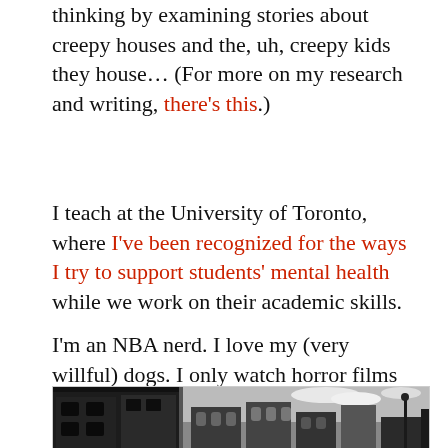thinking by examining stories about creepy houses and the, uh, creepy kids they house… (For more on my research and writing, there's this.)
I teach at the University of Toronto, where I've been recognized for the ways I try to support students' mental health while we work on their academic skills.
I'm an NBA nerd. I love my (very willful) dogs. I only watch horror films during the day. And when I travel I like to take pictures of the weird and uncanny…
[Figure (photo): Black and white photograph of urban buildings with ornate architectural details, arched windows, and a dramatic sky with clouds visible on the right side.]